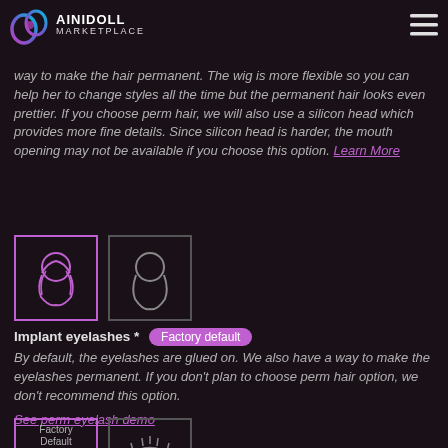AINIDOLL MARKETPLACE
Implant hair *  No, the selected wig is fine.
By default, we use wig for all of our dolls. We also have a way to make the hair permanent. The wig is more flexible so you can help her to change styles all the time but the permanent hair looks even prettier. If you choose perm hair, we will also use a silicon head which provides more fine details. Since silicon head is harder, the mouth opening may not be available if you choose this option. Learn More
[Figure (illustration): Two hair style icons: first selected (magenta border, wavy hair icon), second inactive (plain head silhouette icon)]
Implant eyelashes *  Factory default
By default, the eyelashes are glued on. We also have a way to make the eyelashes permanent. If you don't plan to choose perm hair option, we don't recommend this option.
See perm eyelash demo
[Figure (illustration): Two eyelash style icons at bottom: first selected (magenta border, factory default label), second inactive (eyelash/eye icon)]